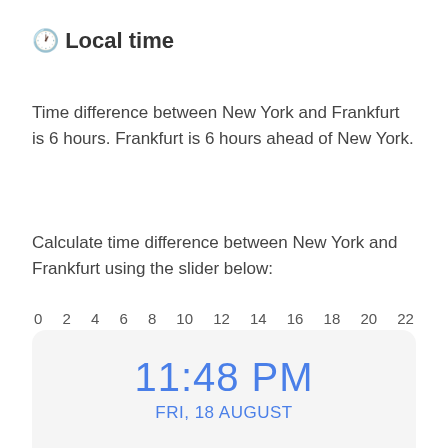🕐 Local time
Time difference between New York and Frankfurt is 6 hours. Frankfurt is 6 hours ahead of New York.
Calculate time difference between New York and Frankfurt using the slider below:
[Figure (infographic): A horizontal slider from 0 to 22 with tick labels 0 2 4 6 8 10 12 14 16 18 20 22. The slider fill (blue) extends nearly to the right end, and a circular thumb sits near value 22.]
11:48 PM
FRI, 18 AUGUST